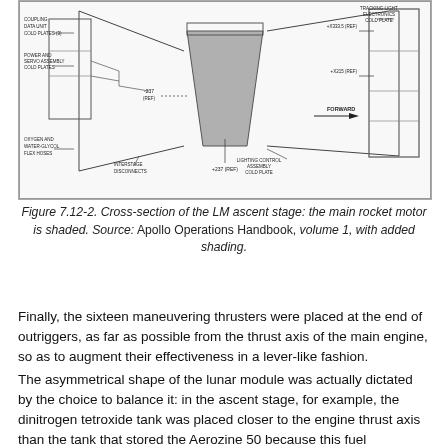[Figure (schematic): Cross-section engineering schematic of the LM ascent stage showing internal components including coupling data unit cold plates, power and servo assembly cold plates, oxygen and water-glycol flex hoses, interstage disconnects, lighting control assembly cold plate, tracking light electronics cold plate, and dimension reference lines. The main rocket motor nozzle is shaded in gray at center.]
Figure 7.12-2. Cross-section of the LM ascent stage: the main rocket motor is shaded. Source: Apollo Operations Handbook, volume 1, with added shading.
Finally, the sixteen maneuvering thrusters were placed at the end of outriggers, as far as possible from the thrust axis of the main engine, so as to augment their effectiveness in a lever-like fashion.
The asymmetrical shape of the lunar module was actually dictated by the choice to balance it: in the ascent stage, for example, the dinitrogen tetroxide tank was placed closer to the engine thrust axis than the tank that stored the Aerozine 50 because this fuel component is considerably lighter than dinitrogen tetroxide for an equal volume.